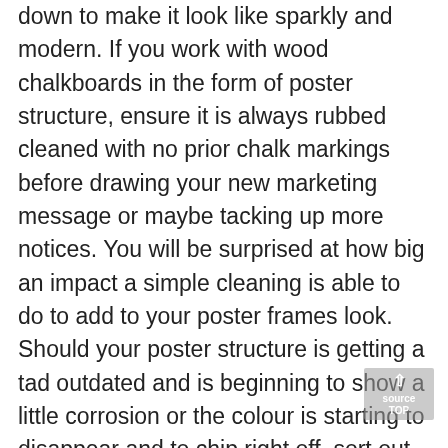down to make it look like sparkly and modern. If you work with wood chalkboards in the form of poster structure, ensure it is always rubbed cleaned with no prior chalk markings before drawing your new marketing message or maybe tacking up more notices. You will be surprised at how big an impact a simple cleaning is able to do to add to your poster frames look. Should your poster structure is getting a tad outdated and is beginning to show a little corrosion or the colour is starting to disappear and to chip right off, sort out the issue by sanding out the rust and then reapplying different colours. You do not always have to bin the old poster frame to enjoy one that appears as if it is fresh and new. No matter if your poster frame is not showing signs and symptoms of deterioration at this time, you can still repaint it almost any tint you prefer in order that it will match the poster. You can even include your own personal design on top of the support frames for your more tailored and intriguing image. Last but not least, look at shifting to using illumination boxes. Light boxes are hassle-free poster picture frames exclusively made to emphasise the poster by means of neon and also LED lights parts at